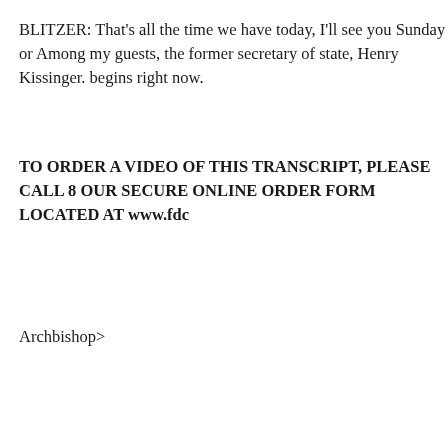BLITZER: That's all the time we have today, I'll see you Sunday or Among my guests, the former secretary of state, Henry Kissinger. begins right now.
TO ORDER A VIDEO OF THIS TRANSCRIPT, PLEASE CALL 8 OUR SECURE ONLINE ORDER FORM LOCATED AT www.fdc
Archbishop>